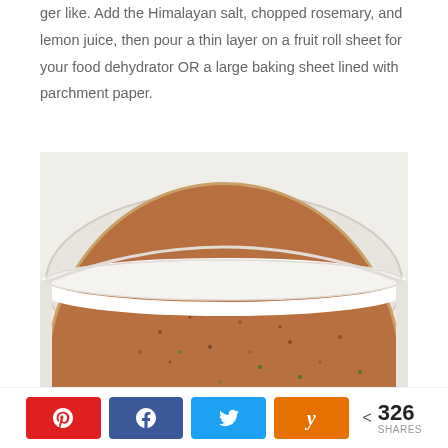ger like. Add the Himalayan salt, chopped rosemary, and lemon juice, then pour a thin layer on a fruit roll sheet for your food dehydrator OR a large baking sheet lined with parchment paper.
[Figure (photo): A circular food dehydrator tray filled with a thin layer of reddish-brown mixture with green flecks, seen from above at an angle. The round white tray has a circular hole in the center and white frame edges.]
< 326 SHARES